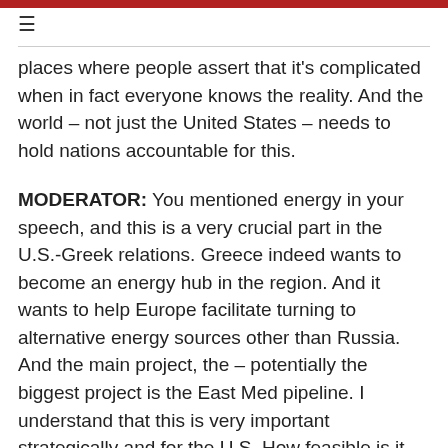places where people assert that it's complicated when in fact everyone knows the reality. And the world – not just the United States – needs to hold nations accountable for this.
MODERATOR: You mentioned energy in your speech, and this is a very crucial part in the U.S.-Greek relations. Greece indeed wants to become an energy hub in the region. And it wants to help Europe facilitate turning to alternative energy sources other than Russia. And the main project, the – potentially the biggest project is the East Med pipeline. I understand that this is very important strategically and for the U.S. How feasible is it financially business-wise? And how close are we to its implementation?